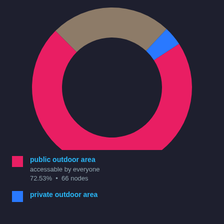[Figure (donut-chart): Outdoor Area Access]
public outdoor area — accessable by everyone — 72.53% • 66 nodes
private outdoor area